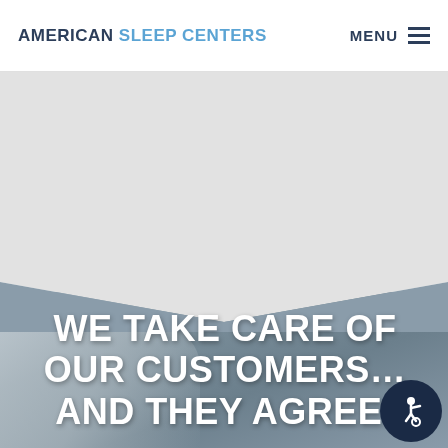AMERICAN SLEEP CENTERS  MENU ≡
[Figure (photo): Hero section with gray background at top transitioning to a muted blue-gray photo of a sleeping person. A white chevron/diagonal shape divides the two sections. Bottom half contains a blurred photograph background of a person sleeping. An accessibility icon button appears in bottom-right corner.]
WE TAKE CARE OF OUR CUSTOMERS… AND THEY AGREE!